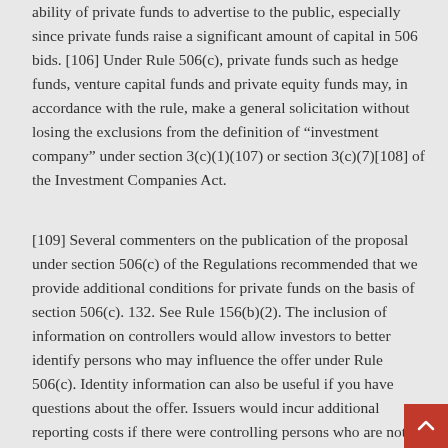ability of private funds to advertise to the public, especially since private funds raise a significant amount of capital in 506 bids. [106] Under Rule 506(c), private funds such as hedge funds, venture capital funds and private equity funds may, in accordance with the rule, make a general solicitation without losing the exclusions from the definition of "investment company" under section 3(c)(1)(107) or section 3(c)(7)[108] of the Investment Companies Act.
[109] Several commenters on the publication of the proposal under section 506(c) of the Regulations recommended that we provide additional conditions for private funds on the basis of section 506(c). 132. See Rule 156(b)(2). The inclusion of information on controllers would allow investors to better identify persons who may influence the offer under Rule 506(c). Identity information can also be useful if you have questions about the offer. Issuers would incur additional reporting costs if there were controlling persons who are not also related persons. In many cases, this information is easily